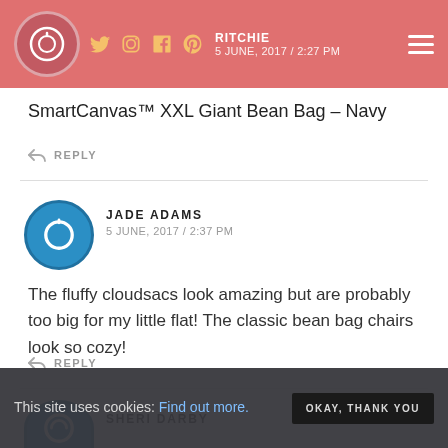RITCHIE 5 JUNE, 2017 / 2:27 PM
SmartCanvas™ XXL Giant Bean Bag – Navy
↩ REPLY
[Figure (illustration): Blue circular avatar icon with power symbol for Jade Adams]
JADE ADAMS
5 JUNE, 2017 / 2:37 PM
The fluffy cloudsacs look amazing but are probably too big for my little flat! The classic bean bag chairs look so cozy!
↩ REPLY
[Figure (illustration): Blue circular avatar icon for Sheri Darby]
SHERI DARBY
This site uses cookies: Find out more.
OKAY, THANK YOU